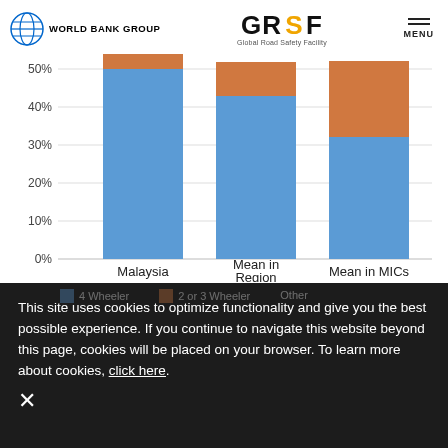World Bank Group | GRSF Global Road Safety Facility | MENU
[Figure (stacked-bar-chart): ]
This site uses cookies to optimize functionality and give you the best possible experience. If you continue to navigate this website beyond this page, cookies will be placed on your browser. To learn more about cookies, click here.